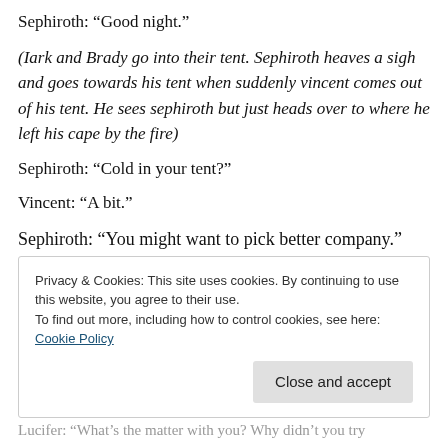Sephiroth: “Good night.”
(Iark and Brady go into their tent. Sephiroth heaves a sigh and goes towards his tent when suddenly vincent comes out of his tent. He sees sephiroth but just heads over to where he left his cape by the fire)
Sephiroth: “Cold in your tent?”
Vincent: “A bit.”
Sephiroth: “You might want to pick better company.”
Privacy & Cookies: This site uses cookies. By continuing to use this website, you agree to their use.
To find out more, including how to control cookies, see here: Cookie Policy
Close and accept
Lucifer: “What’s the matter with you? Why didn’t you try